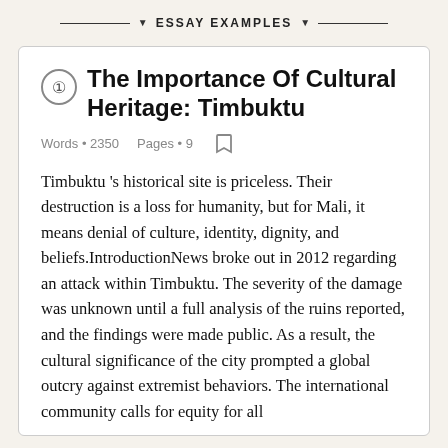ESSAY EXAMPLES
The Importance Of Cultural Heritage: Timbuktu
Words • 2350    Pages • 9
Timbuktu 's historical site is priceless. Their destruction is a loss for humanity, but for Mali, it means denial of culture, identity, dignity, and beliefs.IntroductionNews broke out in 2012 regarding an attack within Timbuktu. The severity of the damage was unknown until a full analysis of the ruins reported, and the findings were made public. As a result, the cultural significance of the city prompted a global outcry against extremist behaviors. The international community calls for equity for all